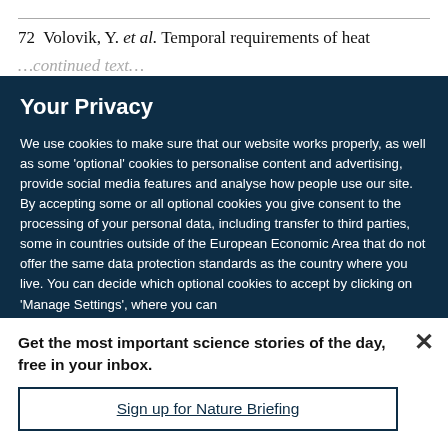72  Volovik, Y. et al. Temporal requirements of heat
Your Privacy
We use cookies to make sure that our website works properly, as well as some 'optional' cookies to personalise content and advertising, provide social media features and analyse how people use our site. By accepting some or all optional cookies you give consent to the processing of your personal data, including transfer to third parties, some in countries outside of the European Economic Area that do not offer the same data protection standards as the country where you live. You can decide which optional cookies to accept by clicking on 'Manage Settings', where you can
Get the most important science stories of the day, free in your inbox.
Sign up for Nature Briefing